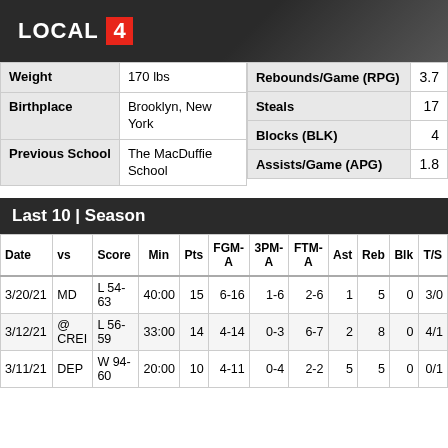LOCAL 4
|  |  |
| --- | --- |
| Weight | 170 lbs |
| Birthplace | Brooklyn, New York |
| Previous School | The MacDuffie School |
|  |  |
| --- | --- |
| Rebounds/Game (RPG) | 3.7 |
| Steals | 17 |
| Blocks (BLK) | 4 |
| Assists/Game (APG) | 1.8 |
Last 10 | Season
| Date | vs | Score | Min | Pts | FGM-A | 3PM-A | FTM-A | Ast | Reb | Blk | T/S |
| --- | --- | --- | --- | --- | --- | --- | --- | --- | --- | --- | --- |
| 3/20/21 | MD | L 54-63 | 40:00 | 15 | 6-16 | 1-6 | 2-6 | 1 | 5 | 0 | 3/0 |
| 3/12/21 | @ CREI | L 56-59 | 33:00 | 14 | 4-14 | 0-3 | 6-7 | 2 | 8 | 0 | 4/1 |
| 3/11/21 | DEP | W 94-60 | 20:00 | 10 | 4-11 | 0-4 | 2-2 | 5 | 5 | 0 | 0/1 |